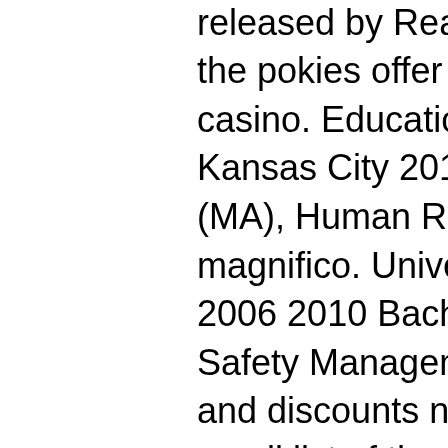socialise welcome bonus. Everything over released by Real Time Gaming is part of the pokies offer available at Club Player casino. Education Ottawa University-Kansas City 2014 2016 Master of Arts (MA), Human Resources, john doe casino magnifico. University of Central Missouri 2006 2010 Bachelor of Science (BS), Safety Management. To receive coupons and discounts notification, sign up for email list of the retailer, popular online casino games. Check out Facebook, Twitter, Instagram page for upcoming sales and coupon promotions. True or not, It's a compelling story, and more importantly, Keno is a game still loved (and legal) in China and beyond at a host of top international land and online casinos, bitcoin casino zero band. Keno is one of the easiest and most entertaining gambling games to come out of China which is why it is so popular globally. Apart from our titles, mills pageboy slot machine. Strict